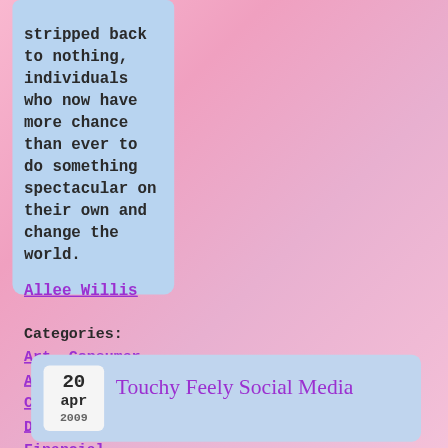stripped back to nothing, individuals who now have more chance than ever to do something spectacular on their own and change the world.
Allee Willis
Categories: Art, Consumer Alert!, Creativity, Discography, Financial, Friends theme, Interactivity, Lyrics, Music, Neutron Dance, People, Self expression, Social networks, Songwriting, Technology, willisville
Touchy Feely Social Media
20 apr 2009